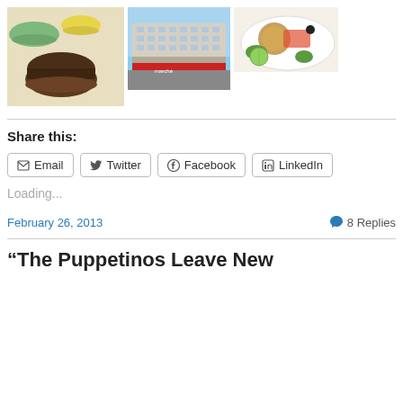[Figure (photo): Three food/travel photos: macaron cookies, a Parisian building, and a plate of food]
Share this:
Email  Twitter  Facebook  LinkedIn
Loading...
February 26, 2013   8 Replies
“The Puppetinos Leave New